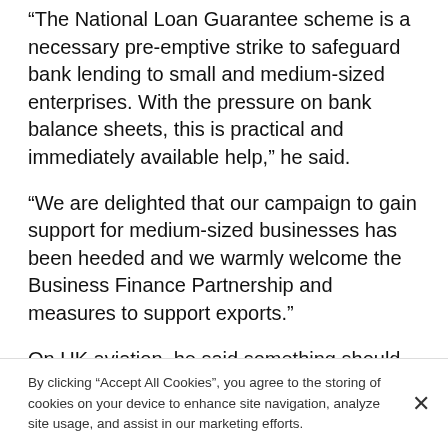“The National Loan Guarantee scheme is a necessary pre-emptive strike to safeguard bank lending to small and medium-sized enterprises. With the pressure on bank balance sheets, this is practical and immediately available help,” he said.
“We are delighted that our campaign to gain support for medium-sized businesses has been heeded and we warmly welcome the Business Finance Partnership and measures to support exports.”
On UK aviation, he said something should be done as soon as possible about creating a world-class hub airport in the south east to support UK exports.
“We have ambitions to build the UK’s export capability and without a world-class hub airport in the South East
By clicking “Accept All Cookies”, you agree to the storing of cookies on your device to enhance site navigation, analyze site usage, and assist in our marketing efforts.